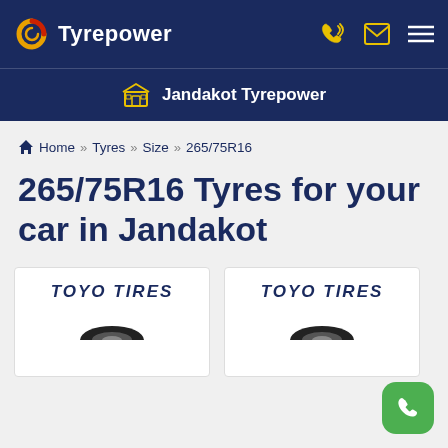Tyrepower
Jandakot Tyrepower
Home >> Tyres >> Size >> 265/75R16
265/75R16 Tyres for your car in Jandakot
[Figure (logo): Toyo Tires product card with tyre image (left)]
[Figure (logo): Toyo Tires product card with tyre image (right)]